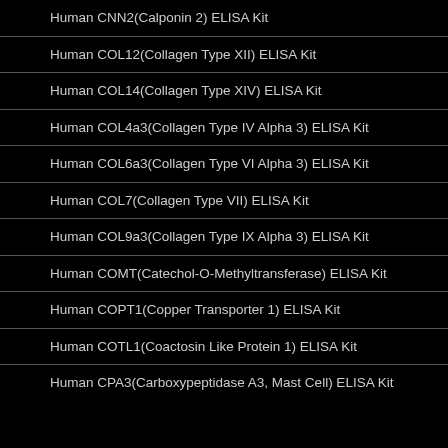Human CNN2(Calponin 2) ELISA Kit
Human COL12(Collagen Type XII) ELISA Kit
Human COL14(Collagen Type XIV) ELISA Kit
Human COL4a3(Collagen Type IV Alpha 3) ELISA Kit
Human COL6a3(Collagen Type VI Alpha 3) ELISA Kit
Human COL7(Collagen Type VII) ELISA Kit
Human COL9a3(Collagen Type IX Alpha 3) ELISA Kit
Human COMT(Catechol-O-Methyltransferase) ELISA Kit
Human COPT1(Copper Transporter 1) ELISA Kit
Human COTL1(Coactosin Like Protein 1) ELISA Kit
Human CPA3(Carboxypeptidase A3, Mast Cell) ELISA Kit